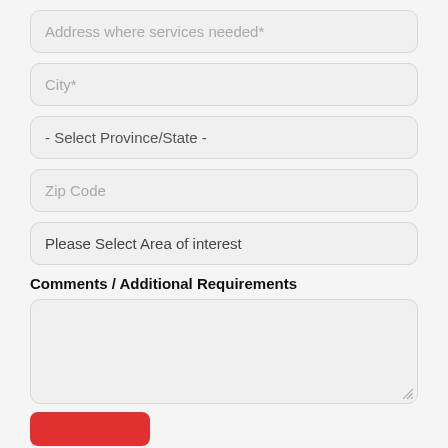Address where services needed*
City*
- Select Province/State -
Zip Code
Please Select Area of interest
Comments / Additional Requirements
[Figure (other): Large empty textarea for comments/additional requirements with resize handle]
[Figure (other): Red submit button partially visible at bottom]